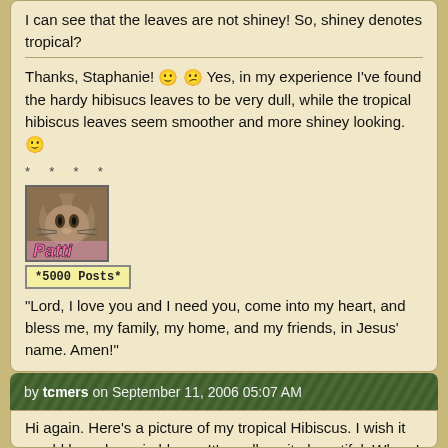I can see that the leaves are not shiney! So, shiney denotes tropical?
Thanks, Staphanie! 🙂 😕 Yes, in my experience I've found the hardy hibisucs leaves to be very dull, while the tropical hibiscus leaves seem smoother and more shiney looking. 🙂
* * * *
[Figure (photo): User avatar photo of a cat with pink italic text 'Patti' overlaid at the bottom]
*5000 Posts*
"Lord, I love you and I need you, come into my heart, and bless me, my family, my home, and my friends, in Jesus' name. Amen!"
by tcmers on September 11, 2006 05:07 AM
Hi again. Here's a picture of my tropical Hibiscus. I wish it would have been in bloom. It's really quite beautiful. When I